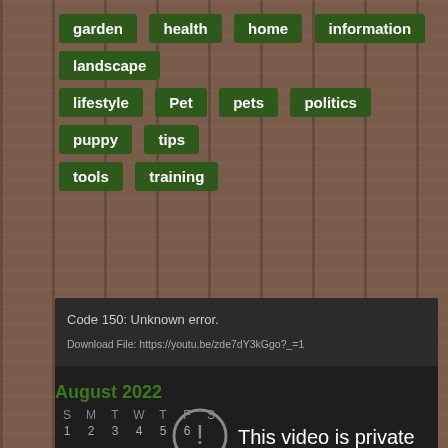garden
health
home
information
landscape
lifestyle
Pet
pets
politics
puppy
tips
tools
training
[Figure (screenshot): YouTube video embed showing error: Code 150: Unknown error. Download File: https://youtu.be/zde7dY3kGgo?_=1. Video is private message displayed in dark player.]
August 2022
| S | M | T | W | T | F | S |
| --- | --- | --- | --- | --- | --- | --- |
| 1 | 2 | 3 | 4 | 5 | 6 |  |